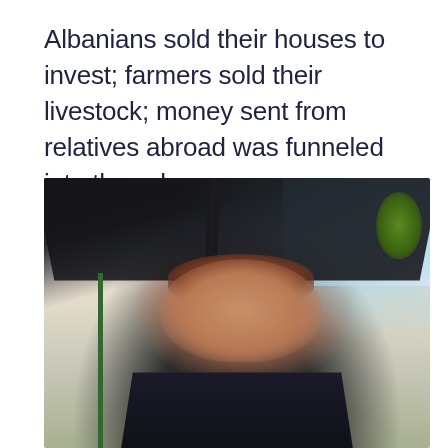Albanians sold their houses to invest; farmers sold their livestock; money sent from relatives abroad was funneled into the schemes.
[Figure (photo): Portrait photo of a middle-aged woman with short reddish-brown hair, wearing a dark jacket with orange accents, seated outdoors under a large black umbrella at what appears to be a café or outdoor venue. Buildings, trees, and other people are visible in the background under a blue sky.]